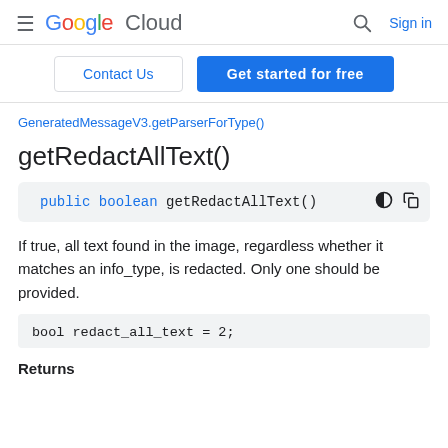Google Cloud  [search] Sign in
Contact Us   Get started for free
GeneratedMessageV3.getParserForType()
getRedactAllText()
If true, all text found in the image, regardless whether it matches an info_type, is redacted. Only one should be provided.
Returns